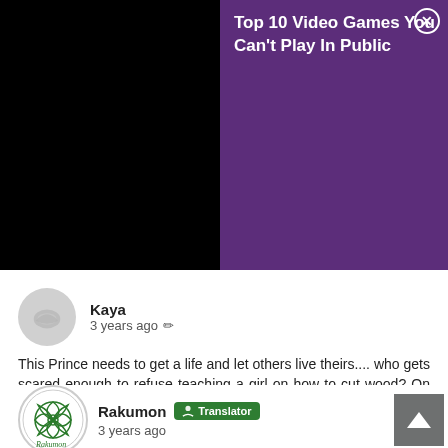[Figure (screenshot): Top banner: left half black (video thumbnail), right half purple with advertisement text 'Top 10 Video Games You Can't Play In Public' and close button]
Kaya
3 years ago ✏️

This Prince needs to get a life and let others live theirs.... who gets scared enough to refuse teaching a girl on how to cut wood? On the other hand Su Xier is on her way to become a jack off all trades...

2 👍 || 0 👇
Rakumon [Translator]
3 years ago

Lol, scrubbing chamber pots, washing clothes, chopping ...